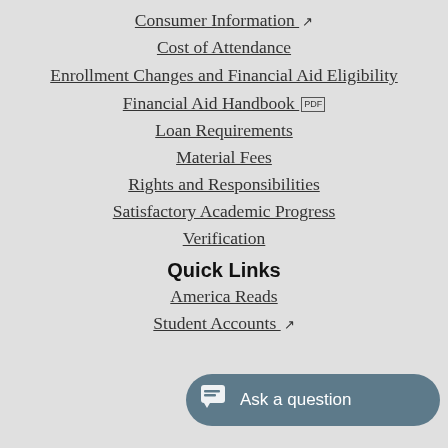Consumer Information ↗
Cost of Attendance
Enrollment Changes and Financial Aid Eligibility
Financial Aid Handbook [PDF]
Loan Requirements
Material Fees
Rights and Responsibilities
Satisfactory Academic Progress
Verification
Quick Links
America Reads
Student Accounts ↗
[Figure (screenshot): Chat widget button with speech bubble icon and text 'Ask a question' on a steel-blue rounded pill background]